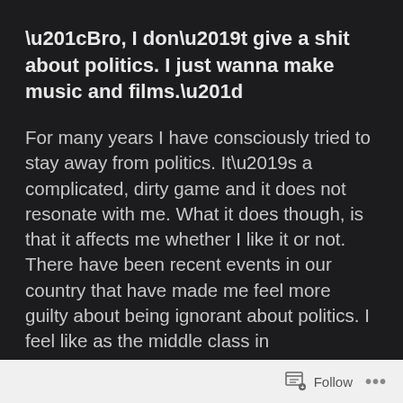“Bro, I don’t give a shit about politics. I just wanna make music and films.”
For many years I have consciously tried to stay away from politics. It’s a complicated, dirty game and it does not resonate with me. What it does though, is that it affects me whether I like it or not. There have been recent events in our country that have made me feel more guilty about being ignorant about politics. I feel like as the middle class in today’s India, it is our responsibility to be aware of the situation of our country. I was talking to a friend of mine and we were discussing the amount of guilt we felt about not being involved and it was time for us
Follow  ...